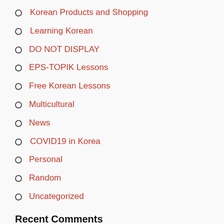Korean Products and Shopping
Learning Korean
DO NOT DISPLAY
EPS-TOPIK Lessons
Free Korean Lessons
Multicultural
News
COVID19 in Korea
Personal
Random
Uncategorized
Recent Comments
Yaya Classroom PUPMags on EPS-TOPIK Lesson 1A